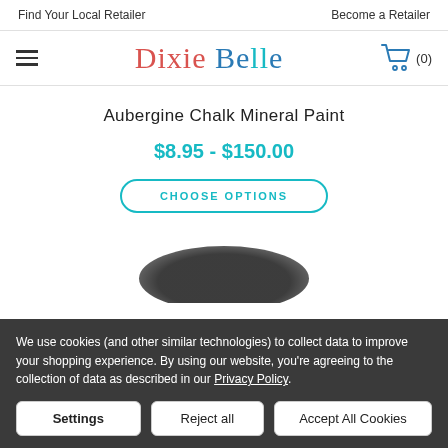Find Your Local Retailer   Become a Retailer
[Figure (logo): Dixie Belle Paint Company logo with hamburger menu and shopping cart icon showing (0) items]
Aubergine Chalk Mineral Paint
$8.95 - $150.00
CHOOSE OPTIONS
[Figure (photo): Partial product image with dark rounded top visible at bottom of visible area]
We use cookies (and other similar technologies) to collect data to improve your shopping experience. By using our website, you're agreeing to the collection of data as described in our Privacy Policy.
Settings   Reject all   Accept All Cookies